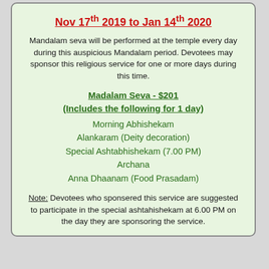Nov 17th 2019 to Jan 14th 2020
Mandalam seva will be performed at the temple every day during this auspicious Mandalam period. Devotees may sponsor this religious service for one or more days during this time.
Madalam Seva - $201
(Includes the following for 1 day)
Morning Abhishekam
Alankaram (Deity decoration)
Special Ashtabhishekam (7.00 PM)
Archana
Anna Dhaanam (Food Prasadam)
Note: Devotees who sponsered this service are suggested to participate in the special ashtahishekam at 6.00 PM on the day they are sponsoring the service.